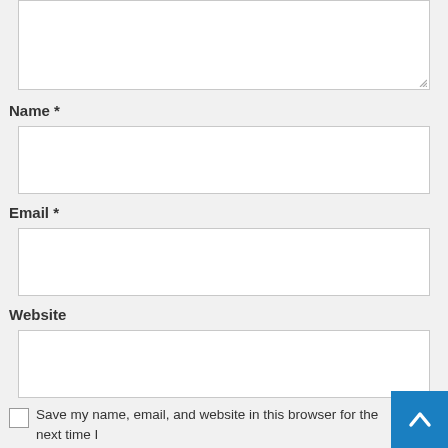[Figure (screenshot): Textarea input box (comment field) with resize handle at bottom-right]
Name *
[Figure (screenshot): Name input text field (empty)]
Email *
[Figure (screenshot): Email input text field (empty)]
Website
[Figure (screenshot): Website input text field (empty)]
Save my name, email, and website in this browser for the next time I comment.